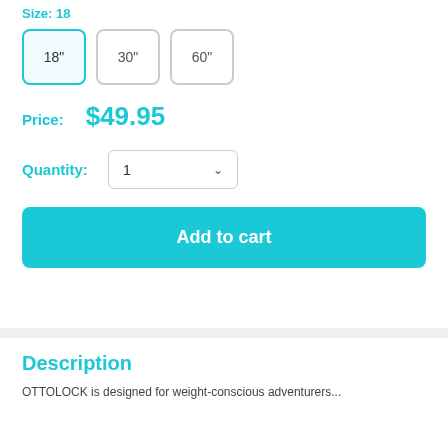Size: 18
18" | 30" | 60"
Price: $49.95
Quantity: 1
Add to cart
Description
OTTOLOCK is designed for weight-conscious adventurers...